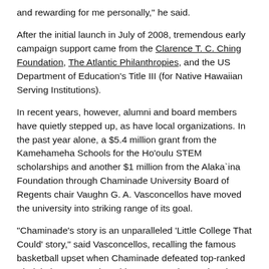and rewarding for me personally," he said.
After the initial launch in July of 2008, tremendous early campaign support came from the Clarence T. C. Ching Foundation, The Atlantic Philanthropies, and the US Department of Education's Title III (for Native Hawaiian Serving Institutions).
In recent years, however, alumni and board members have quietly stepped up, as have local organizations. In the past year alone, a $5.4 million grant from the Kamehameha Schools for the Ho'oulu STEM scholarships and another $1 million from the Alaka`ina Foundation through Chaminade University Board of Regents chair Vaughn G. A. Vasconcellos have moved the university into striking range of its goal.
“Chaminade’s story is an unparalleled ‘Little College That Could’ story,” said Vasconcellos, recalling the famous basketball upset when Chaminade defeated top-ranked Virginia in 1982. In the mid-1990s, newly appointed President Mary Civille “Sue” Wesselkamper, D. S.W. brought on Ploeger and with the help of the Marianists